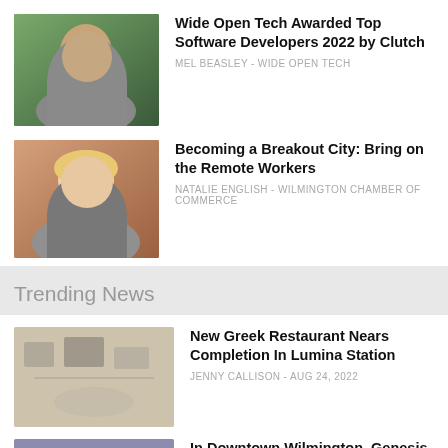[Figure (photo): Headshot of man in suit with bow tie outdoors]
Wide Open Tech Awarded Top Software Developers 2022 by Clutch
MEL BEASLEY - WIDE OPEN TECH
[Figure (photo): Headshot of smiling woman with blonde hair]
Becoming a Breakout City: Bring on the Remote Workers
NATALIE ENGLISH - WILMINGTON CHAMBER OF COMMERCE
Trending News
[Figure (photo): Interior of a restaurant space]
New Greek Restaurant Nears Completion In Lumina Station
JENNY CALLISON - AUG 24, 2022
[Figure (photo): People gathered in a workspace]
In Downtown Wilmington, Genesis Block Moving To Common Desk
STAFF REPORTS - AUG 25, 2022